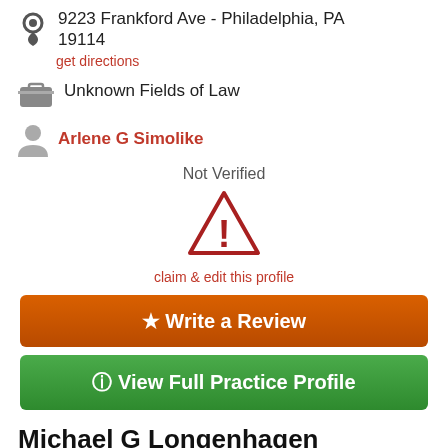9223 Frankford Ave - Philadelphia, PA 19114
get directions
Unknown Fields of Law
Arlene G Simolike
Not Verified
[Figure (infographic): Warning triangle icon with exclamation mark in dark red/maroon outline]
claim & edit this profile
★ Write a Review
ⓘ View Full Practice Profile
Michael G Longenhagen
(610) 439-1909